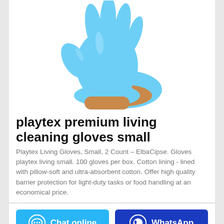[Figure (photo): Two hands wearing light blue nitrile/latex gloves, one hand raised with fingers spread, against a white background.]
playtex premium living cleaning gloves small
Playtex Living Gloves, Small, 2 Count – ElbaCipse. Gloves playtex living small. 100 gloves per box. Cotton lining - lined with pillow-soft and ultra-absorbent cotton. Offer high quality barrier protection for light-duty tasks or food handling at an economical price.
Chat online
WhatsApp